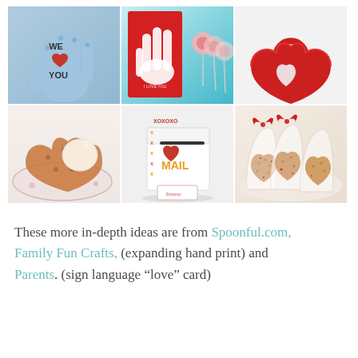[Figure (photo): A 2x3 grid of six Valentine's Day themed photos: (1) blue hand print cutout with 'WE [heart] YOU' text, (2) red card with sign language 'I love you' hand and candy lollipops on teal background, (3) red heart-shaped basket on white background, (4) heart-shaped cookie with ice cream on floral plate, (5) Valentine mailbox decorated with XOXO and heart 'MAIL' label with a card labeled 'Tommy', (6) heart-shaped Rice Krispie treats in clear bags on a plate]
These more in-depth ideas are from Spoonful.com, Family Fun Crafts, (expanding hand print) and Parents. (sign language “love” card)